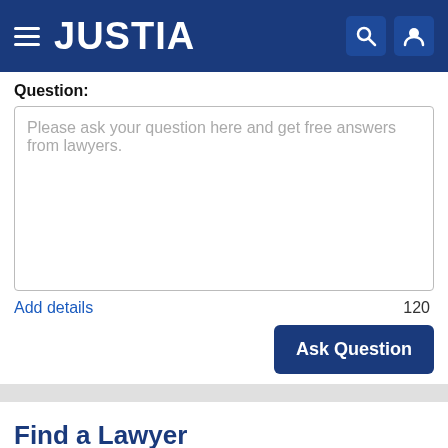JUSTIA
Question:
Please ask your question here and get free answers from lawyers.
Add details
120
Ask Question
Find a Lawyer
Legal Issue or Lawyer Name
Arizona
Search